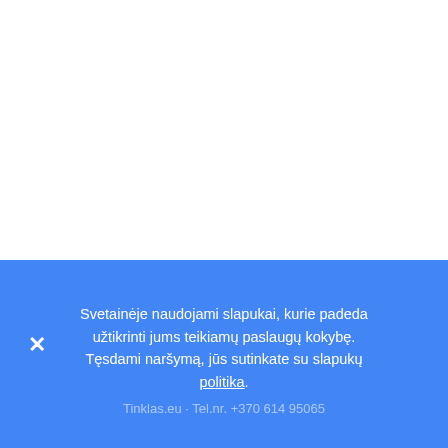[Figure (logo): tinklas.eu logo with a cube/box icon made of geometric lines inside square brackets, followed by the text 'tinklas' on first line and '.eu' on second line in bold black]
Svetainėje naudojami slapukai, kurie padeda užtikrinti jums teikiamų paslaugų kokybę. Tęsdami naršymą, jūs sutinkate su slapukų politika.
Tinklas.eu · Tel.nr. +370 614 95065